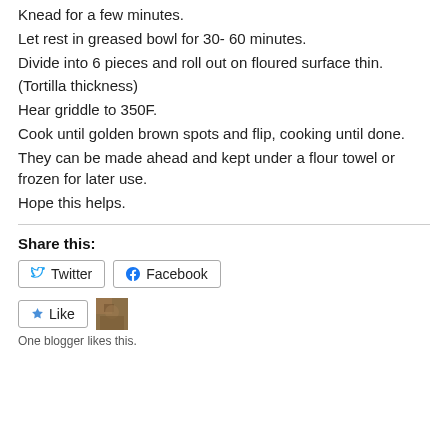Knead for a few minutes.
Let rest in greased bowl for 30- 60 minutes.
Divide into 6 pieces and roll out on floured surface thin.
(Tortilla thickness)
Hear griddle to 350F.
Cook until golden brown spots and flip, cooking until done.
They can be made ahead and kept under a flour towel or frozen for later use.
Hope this helps.
Share this:
Twitter  Facebook
Like  One blogger likes this.